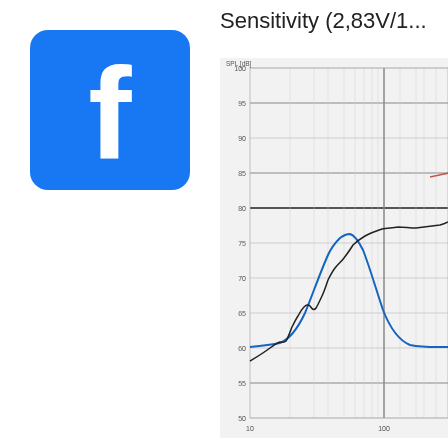[Figure (logo): Facebook logo — blue rounded square with white lowercase 'f']
Sensitivity (2,83V/1...
[Figure (continuous-plot): Speaker sensitivity frequency response chart. Y-axis: SPL [dB] from 50 to 100. X-axis: frequency (Hz) from 10 to beyond 100. Two curves: a black SPL curve rising from ~67dB at 20Hz to ~85dB at 200Hz with resonance ripples around 50-80Hz; a blue impedance-like curve peaking ~75dB near 60-70Hz then falling back to ~59dB baseline.]